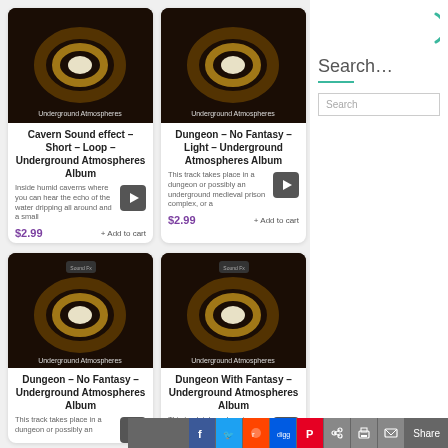[Figure (illustration): Album art for 'Underground Atmospheres' - dark cave/tunnel with glowing circular light]
Cavern Sound effect – Short – Loop – Underground Atmospheres Album
Inside humid caverns where you can hear the echo of the water dripping all around and a small
$2.99
+ Add to cart
[Figure (illustration): Album art for 'Underground Atmospheres' - dark cave/tunnel with glowing circular light]
Dungeon – No Fantasy – Light – Underground Atmospheres Album
This track takes place in a dungeon or possibly an underground medieval prison complex, or a
$2.99
+ Add to cart
[Figure (illustration): Album art for 'Underground Atmospheres' with Sound Fx logo - dark cave/tunnel with glowing circular light]
Dungeon – No Fantasy – Underground Atmospheres Album
This track takes place in a dungeon or possibly an
[Figure (illustration): Album art for 'Underground Atmospheres' with Sound Fx logo - dark cave/tunnel with glowing circular light]
Dungeon With Fantasy – Underground Atmospheres Album
This track takes place in a
[Figure (screenshot): Loading spinner icon (teal)]
Search…
Search
Share